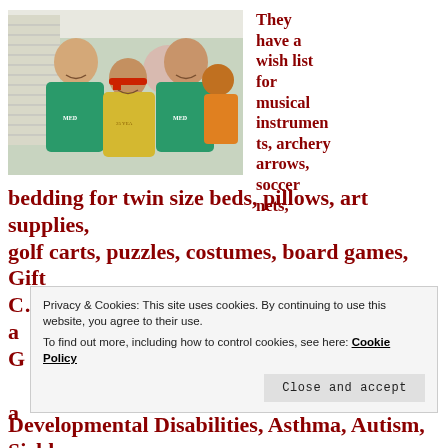[Figure (photo): Three people posing together indoors. Two taller individuals wearing teal/green t-shirts with 'MedCorps' logo on either side, and a shorter person in the middle wearing a yellow shirt and red hat.]
They have a wish list for musical instruments, archery arrows, soccer nets, bedding for twin size beds, pillows, art supplies, golf carts, puzzles, costumes, board games, Gift Cards/clubs (and more...) including
Privacy & Cookies: This site uses cookies. By continuing to use this website, you agree to their use.
To find out more, including how to control cookies, see here: Cookie Policy
Close and accept
Developmental Disabilities, Asthma, Autism, Sickle